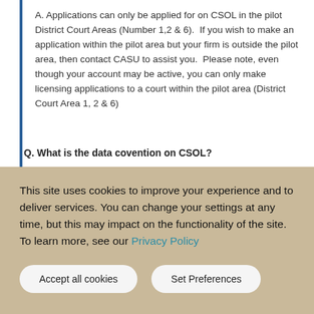A. Applications can only be applied for on CSOL in the pilot District Court Areas (Number 1,2 & 6).  If you wish to make an application within the pilot area but your firm is outside the pilot area, then contact CASU to assist you.  Please note, even though your account may be active, you can only make licensing applications to a court within the pilot area (District Court Area 1, 2 & 6)
Q. What is the data covention on CSOL?
A. The data convention is highlighted in the table below which should be of assistance when entering applications on CSOL and also when searching for a licence online.
This site uses cookies to improve your experience and to deliver services. You can change your settings at any time, but this may impact on the functionality of the site. To learn more, see our Privacy Policy